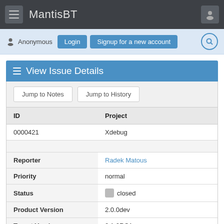MantisBT
Anonymous  Login  Signup for a new account
View Issue Details
Jump to Notes  Jump to History
| ID | Project |
| --- | --- |
| 0000421 | Xdebug |
| Reporter | Radek Matous |
| Priority | normal |
| Status | closed |
| Product Version | 2.0.0dev |
| Target Version | 2.1.0RC1 |
| Summary | 0000421: xdebug sends back invalid characters in xr |